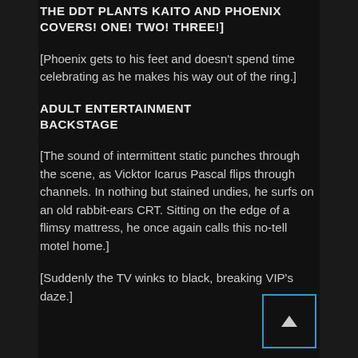THE DDT PLANTS KAITO AND PHOENIX COVERS! ONE! TWO! THREE!
[Phoenix gets to his feet and doesn't spend time celebrating as he makes his way out of the ring.]
ADULT ENTERTAINMENT BACKSTAGE
[The sound of intermittent static punches through the scene, as Vicktor Icarus Pascal flips through channels. In nothing but stained undies, he surfs on an old rabbit-ears CRT. Sitting on the edge of a flimsy mattress, he once again calls this no-tell motel home.]
[Suddenly the TV winks to black, breaking VIP's daze.]